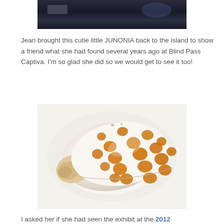[Figure (photo): Top portion of a dark underwater/aquarium photo, partially cropped at top]
Jean brought this cutie little JUNONIA back to the island to show a friend what she had found several years ago at Blind Pass Captiva. I'm so glad she did so we would get to see it too!
[Figure (photo): A white shell (Junonia) with orange-brown polka dot spots, lying on a white surface]
I asked her if she had seen the exhibit at the 2012 Sanibel Shell Show of the juvenile JUNONIAS that